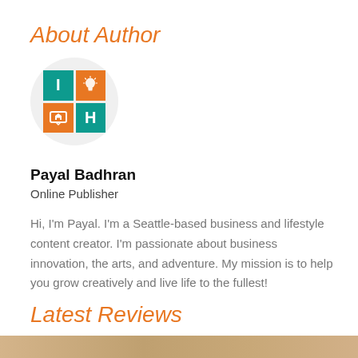About Author
[Figure (logo): Circular logo with a 2x2 grid: top-left teal cell with white 'I', top-right orange cell with white lightbulb icon, bottom-left orange cell with white monitor/house icon, bottom-right teal cell with white 'H']
Payal Badhran
Online Publisher
Hi, I'm Payal. I'm a Seattle-based business and lifestyle content creator. I'm passionate about business innovation, the arts, and adventure. My mission is to help you grow creatively and live life to the fullest!
Latest Reviews
[Figure (photo): Partial bottom strip showing a warm-toned photo, appears to be food or a textured surface]